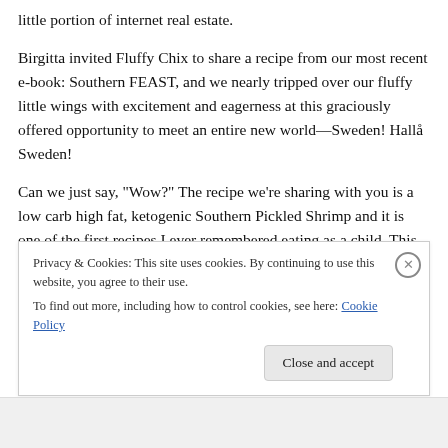little portion of internet real estate.
Birgitta invited Fluffy Chix to share a recipe from our most recent e-book: Southern FEAST, and we nearly tripped over our fluffy little wings with excitement and eagerness at this graciously offered opportunity to meet an entire new world—Sweden! Hallå Sweden!
Can we just say, “Wow?” The recipe we’re sharing with you is a low carb high fat, ketogenic Southern Pickled Shrimp and it is one of the first recipes I ever remembered eating as a child. This dish was one of our dad’s mama’s
Privacy & Cookies: This site uses cookies. By continuing to use this website, you agree to their use.
To find out more, including how to control cookies, see here: Cookie Policy
Close and accept